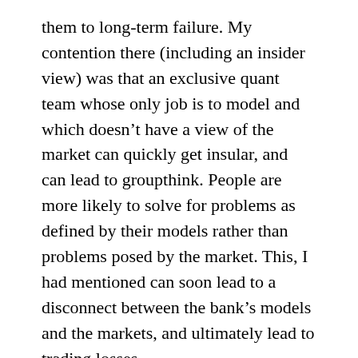them to long-term failure. My contention there (including an insider view) was that an exclusive quant team whose only job is to model and which doesn't have a view of the market can quickly get insular, and can lead to groupthink. People are more likely to solve for problems as defined by their models rather than problems posed by the market. This, I had mentioned can soon lead to a disconnect between the bank's models and the markets, and ultimately lead to trading losses.
Extending that argument, it works the same way with non-banking firms as well. When you put together a group of numbers people and call them the analytics group, and only give